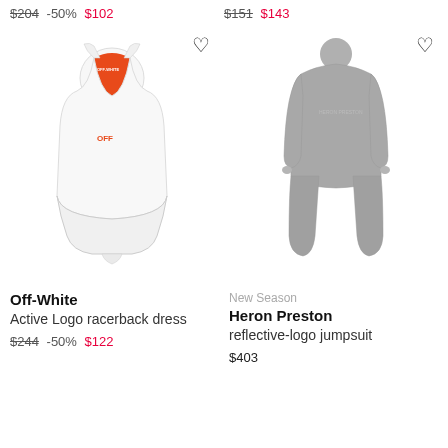$204 -50% $102
$151 $143
[Figure (photo): White Off-White Active Logo racerback tennis dress with orange racerback panel and white skirt]
[Figure (photo): Gray Heron Preston reflective-logo long-sleeve jumpsuit with full-length legs]
Off-White
Active Logo racerback dress
$244 -50% $122
New Season
Heron Preston
reflective-logo jumpsuit
$403